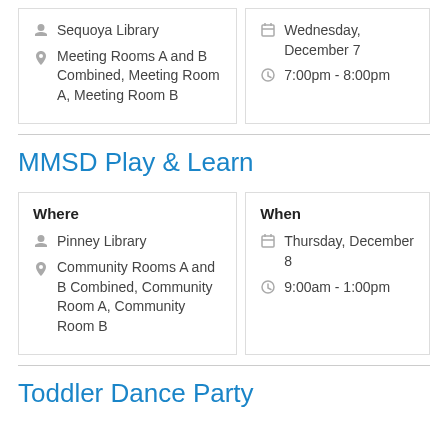Sequoya Library
Meeting Rooms A and B Combined, Meeting Room A, Meeting Room B
Wednesday, December 7
7:00pm - 8:00pm
MMSD Play & Learn
Pinney Library
Community Rooms A and B Combined, Community Room A, Community Room B
Thursday, December 8
9:00am - 1:00pm
Toddler Dance Party